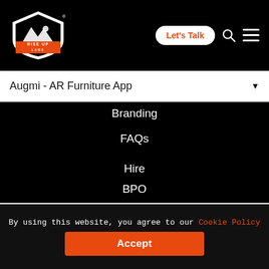[Figure (logo): Rise Up Labs logo — mountain/shield icon with orange and white text on black background]
Let's Talk
Augmi - AR Furniture App
Branding
FAQs
Hire
BPO
Services
Products
By using this website, you agree to our Cookie Policy
Accept